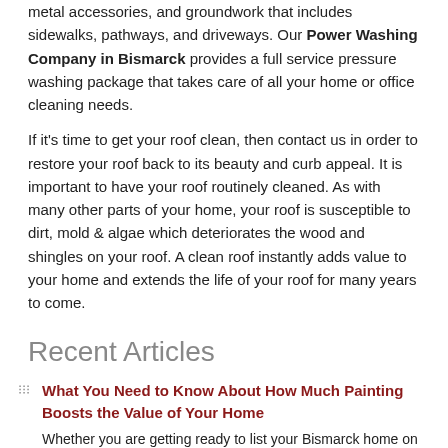metal accessories, and groundwork that includes sidewalks, pathways, and driveways. Our Power Washing Company in Bismarck provides a full service pressure washing package that takes care of all your home or office cleaning needs.
If it's time to get your roof clean, then contact us in order to restore your roof back to its beauty and curb appeal. It is important to have your roof routinely cleaned. As with many other parts of your home, your roof is susceptible to dirt, mold & algae which deteriorates the wood and shingles on your roof. A clean roof instantly adds value to your home and extends the life of your roof for many years to come.
Recent Articles
What You Need to Know About How Much Painting Boosts the Value of Your Home
Whether you are getting ready to list your Bismarck home on the market, or just want to maximize the value, you will be surprised to learn how much worth painting will add. It's obvious that new paint ups the value - just a professional power washing of the exterior can increase the asking price by…
READ MORE